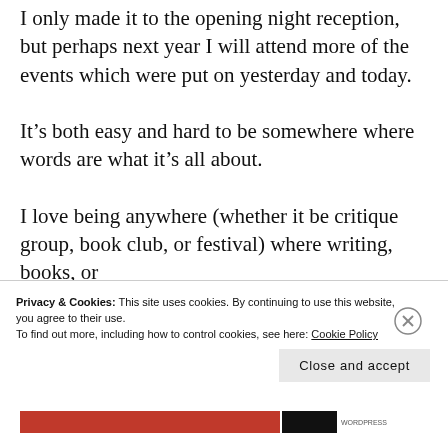I only made it to the opening night reception, but perhaps next year I will attend more of the events which were put on yesterday and today.
It’s both easy and hard to be somewhere where words are what it’s all about.
I love being anywhere (whether it be critique group, book club, or festival) where writing, books, or
Privacy & Cookies: This site uses cookies. By continuing to use this website, you agree to their use.
To find out more, including how to control cookies, see here: Cookie Policy
Close and accept